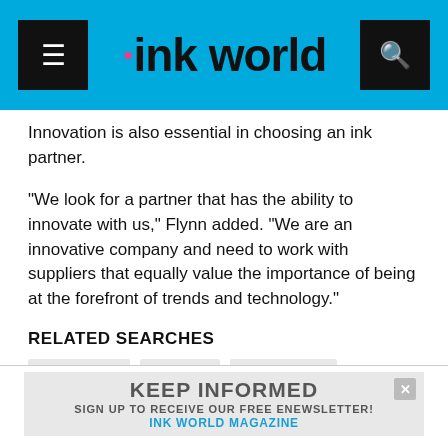ink world
Innovation is also essential in choosing an ink partner.
“We look for a partner that has the ability to innovate with us,” Flynn added. “We are an innovative company and need to work with suppliers that equally value the importance of being at the forefront of trends and technology.”
RELATED SEARCHES
GRAVURE
SALES
HP INDIGO
SHEETFED
RELATED BREAKING NEWS :
Fort Dearborn Company Acquires
[Figure (photo): Colorful microscopic image with green and red elements]
KEEP INFORMED
SIGN UP TO RECEIVE OUR FREE ENEWSLETTER!
INK WORLD MAGAZINE